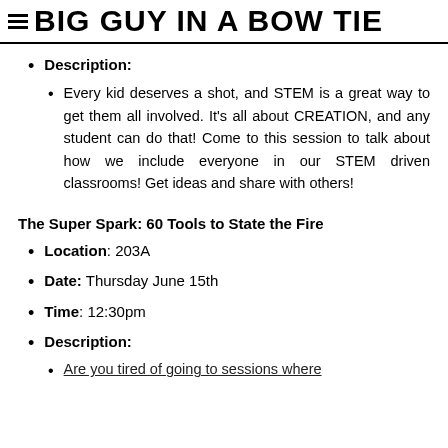BIG GUY IN A BOW TIE
Description:
Every kid deserves a shot, and STEM is a great way to get them all involved. It's all about CREATION, and any student can do that! Come to this session to talk about how we include everyone in our STEM driven classrooms! Get ideas and share with others!
The Super Spark: 60 Tools to State the Fire
Location: 203A
Date: Thursday June 15th
Time: 12:30pm
Description:
Are you tired of going to sessions where